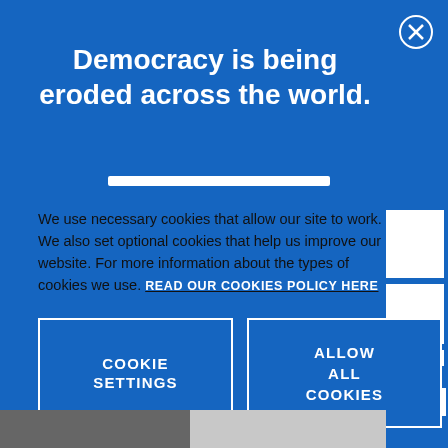[Figure (screenshot): Cookie consent modal overlay on a blue background page about democracy. Contains a close button (X in circle), headline, white divider bar, cookie policy text with link, two buttons (Cookie Settings and Allow All Cookies), and partially visible right-side UI elements.]
Democracy is being eroded across the world.
We use necessary cookies that allow our site to work. We also set optional cookies that help us improve our website. For more information about the types of cookies we use. READ OUR COOKIES POLICY HERE
COOKIE SETTINGS
ALLOW ALL COOKIES
data.